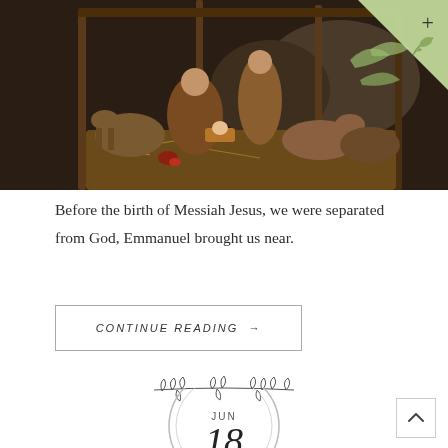[Figure (photo): Nativity scene with figurines of Mary, Joseph, baby Jesus, animals and other figures in a stable setting]
Before the birth of Messiah Jesus, we were separated from God, Emmanuel brought us near.
CONTINUE READING →
[Figure (illustration): Decorative leaf/branch divider]
[Figure (illustration): Circle date badge showing JUN 18]